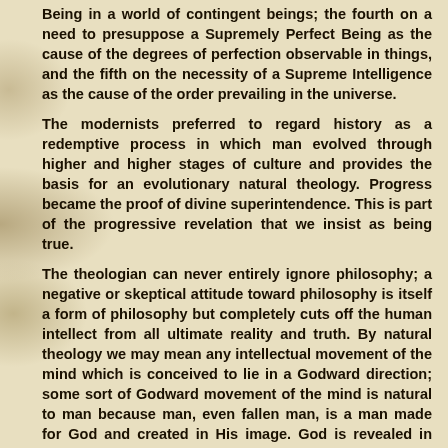Being in a world of contingent beings; the fourth on a need to presuppose a Supremely Perfect Being as the cause of the degrees of perfection observable in things, and the fifth on the necessity of a Supreme Intelligence as the cause of the order prevailing in the universe.
The modernists preferred to regard history as a redemptive process in which man evolved through higher and higher stages of culture and provides the basis for an evolutionary natural theology. Progress became the proof of divine superintendence. This is part of the progressive revelation that we insist as being true.
The theologian can never entirely ignore philosophy; a negative or skeptical attitude toward philosophy is itself a form of philosophy but completely cuts off the human intellect from all ultimate reality and truth. By natural theology we may mean any intellectual movement of the mind which is conceived to lie in a Godward direction; some sort of Godward movement of the mind is natural to man because man, even fallen man, is a man made for God and created in His image. God is revealed in nature and the natural sciences.
We now see that the perfect humanity of Jesus is the living embodiment in human history of the purpose of God in creating human nature and human history. Jesus reveals to us not only the fact of human redemption but the purpose of the creation. Some people call it nature, others call it God.